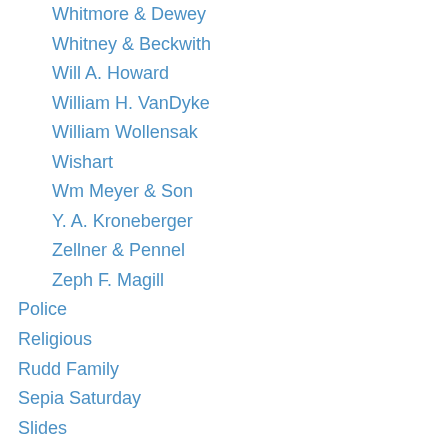Whitmore & Dewey
Whitney & Beckwith
Will A. Howard
William H. VanDyke
William Wollensak
Wishart
Wm Meyer & Son
Y. A. Kroneberger
Zellner & Pennel
Zeph F. Magill
Police
Religious
Rudd Family
Sepia Saturday
Slides
Snapshots
Sports
Stereoscope
Tintype
Trompe l'oeil